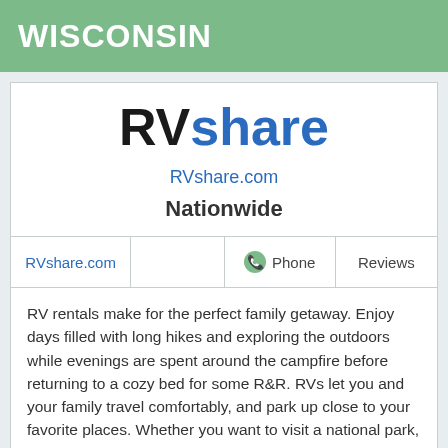WISCONSIN
[Figure (logo): RVshare logo — 'RV' in black bold, 'share' in blue bold, large sans-serif]
RVshare.com
Nationwide
| RVshare.com |  | Phone | Reviews |
| --- | --- | --- | --- |
RV rentals make for the perfect family getaway. Enjoy days filled with long hikes and exploring the outdoors while evenings are spent around the campfire before returning to a cozy bed for some R&R. RVs let you and your family travel comfortably, and park up close to your favorite places. Whether you want to visit a national park, a certain attraction, or just enjoy time spent on the road making stops along the way, an RV from RVshare is the perfect option for your next vacation. Enjoy peace of mind when you rent an RV from RVshare with insurance, 24/7 roadside assistance, and our wo